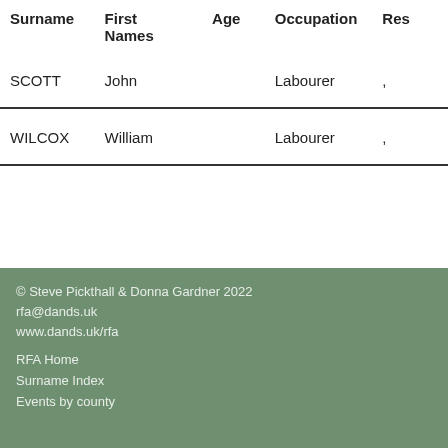| Surname | First Names | Age | Occupation | Res |
| --- | --- | --- | --- | --- |
| SCOTT | John |  | Labourer | , |
| WILCOX | William |  | Labourer | , |
© Steve Pickthall & Donna Gardner 2022
rfa@dands.uk
www.dands.uk/rfa

RFA Home
Surname Index
Events by county